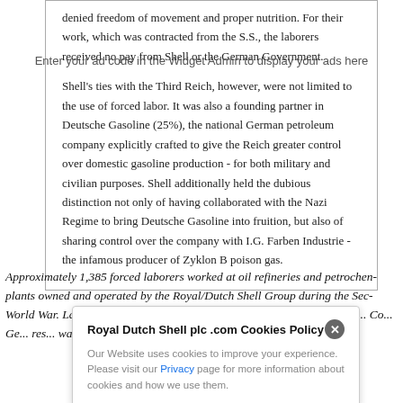denied freedom of movement and proper nutrition. For their work, which was contracted from the S.S., the laborers received no pay from Shell or the German Government.
Shell's ties with the Third Reich, however, were not limited to the use of forced labor. It was also a founding partner in Deutsche Gasoline (25%), the national German petroleum company explicitly crafted to give the Reich greater control over domestic gasoline production - for both military and civilian purposes. Shell additionally held the dubious distinction not only of having collaborated with the Nazi Regime to bring Deutsche Gasoline into fruition, but also of sharing control over the company with I.G. Farben Industrie - the infamous producer of Zyklon B poison gas.
Enter your ad code in the Widget Admin to display your ads here
Approximately 1,385 forced laborers worked at oil refineries and petrochemical plants owned and operated by the Royal/Dutch Shell Group during the Second World War. Laborers from Eastern Europe, including from the lands of S... Ge... res... wa...
Royal Dutch Shell plc .com Cookies Policy
Our Website uses cookies to improve your experience. Please visit our Privacy page for more information about cookies and how we use them.